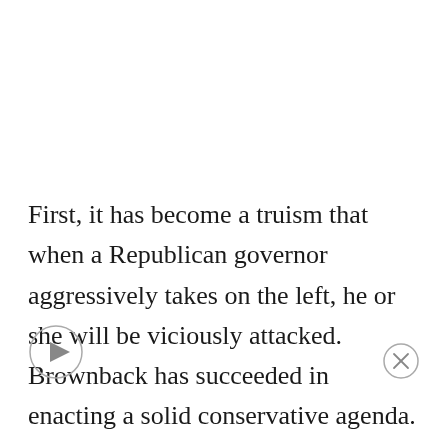First, it has become a truism that when a Republican governor aggressively takes on the left, he or she will be viciously attacked. Brownback has succeeded in enacting a solid conservative agenda. He eliminated income taxes on small businesses, and reduced income taxes on everyone else. He fought to keep coal as part of electricity generation feedstock. He refused the money and mandates of